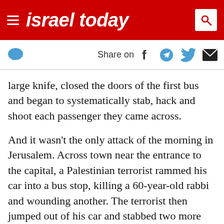israel today
Share on
large knife, closed the doors of the first bus and began to systematically stab, hack and shoot each passenger they came across.
And it wasn't the only attack of the morning in Jerusalem. Across town near the entrance to the capital, a Palestinian terrorist rammed his car into a bus stop, killing a 60-year-old rabbi and wounding another. The terrorist then jumped out of his car and stabbed two more people before being shot by police.
Elsewhere, five Israelis were wounded in two separate terrorist stabbings in the central town of Raanana. In both instances, the attackers were Arab residents of